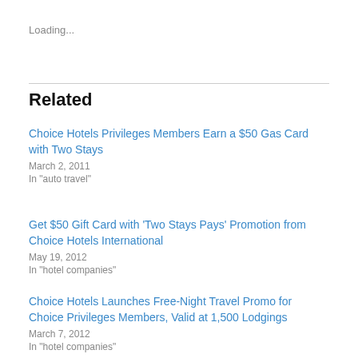Loading...
Related
Choice Hotels Privileges Members Earn a $50 Gas Card with Two Stays
March 2, 2011
In "auto travel"
Get $50 Gift Card with ‘Two Stays Pays’ Promotion from Choice Hotels International
May 19, 2012
In "hotel companies"
Choice Hotels Launches Free-Night Travel Promo for Choice Privileges Members, Valid at 1,500 Lodgings
March 7, 2012
In "hotel companies"